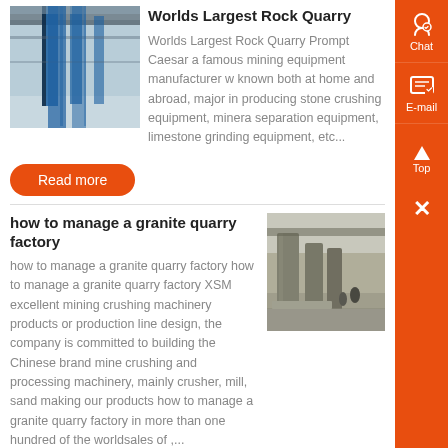[Figure (photo): Industrial mining equipment, vertical columns and blue structures inside a factory/plant]
Worlds Largest Rock Quarry
Worlds Largest Rock Quarry Prompt Caesar a famous mining equipment manufacturer w known both at home and abroad, major in producing stone crushing equipment, mineral separation equipment, limestone grinding equipment, etc...
Read more
how to manage a granite quarry factory
how to manage a granite quarry factory how to manage a granite quarry factory XSM excellent mining crushing machinery products or production line design, the company is committed to building the Chinese brand mine crushing and processing machinery, mainly crusher, mill, sand making our products how to manage a granite quarry factory in more than one hundred of the worldsales of ,...
[Figure (photo): Granite quarry factory with large stone columns and construction workers]
Read more